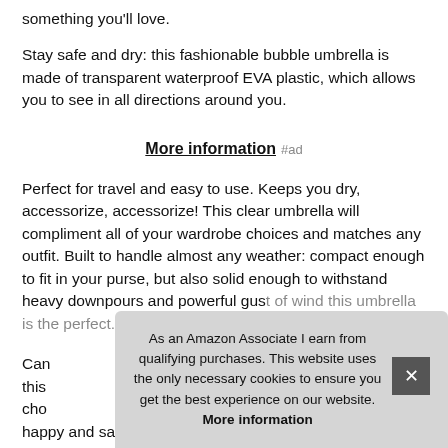something you'll love.
Stay safe and dry: this fashionable bubble umbrella is made of transparent waterproof EVA plastic, which allows you to see in all directions around you.
More information #ad
Perfect for travel and easy to use. Keeps you dry, accessorize, accessorize! This clear umbrella will compliment all of your wardrobe choices and matches any outfit. Built to handle almost any weather: compact enough to fit in your purse, but also solid enough to withstand heavy downpours and powerful gust of wind this umbrella is the perfect...
Can... this... cho... happy and safe so you can look good wherever you go!
As an Amazon Associate I earn from qualifying purchases. This website uses the only necessary cookies to ensure you get the best experience on our website. More information